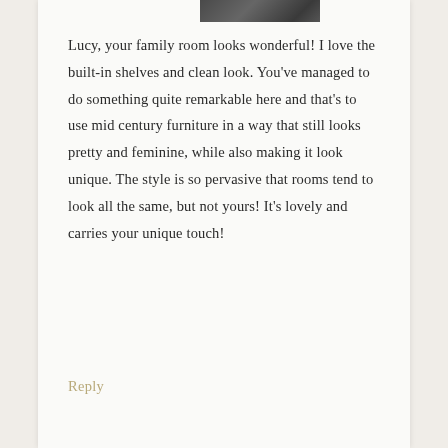[Figure (photo): Small cropped photo of a person at the top of the comment block]
Lucy, your family room looks wonderful! I love the built-in shelves and clean look. You've managed to do something quite remarkable here and that's to use mid century furniture in a way that still looks pretty and feminine, while also making it look unique. The style is so pervasive that rooms tend to look all the same, but not yours! It's lovely and carries your unique touch!
Reply